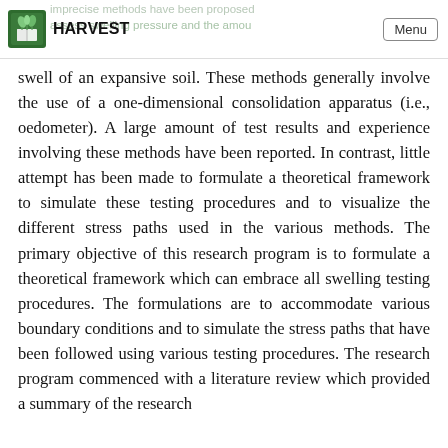HARVEST | Menu
swell of an expansive soil. These methods generally involve the use of a one-dimensional consolidation apparatus (i.e., oedometer). A large amount of test results and experience involving these methods have been reported. In contrast, little attempt has been made to formulate a theoretical framework to simulate these testing procedures and to visualize the different stress paths used in the various methods. The primary objective of this research program is to formulate a theoretical framework which can embrace all swelling testing procedures. The formulations are to accommodate various boundary conditions and to simulate the stress paths that have been followed using various testing procedures. The research program commenced with a literature review which provided a summary of the research